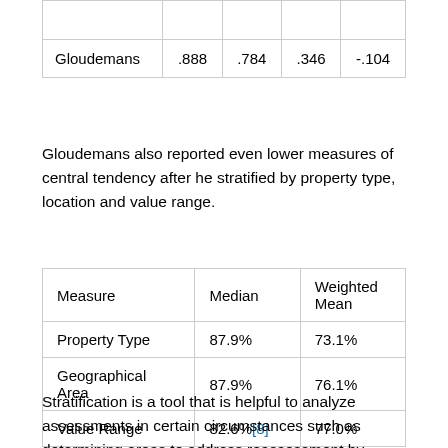|  |  |  |  |  |
| Gloudemans | .888 | .784 | .346 | -.104 |
Gloudemans also reported even lower measures of central tendency after he stratified by property type, location and value range.
| Measure | Median | Weighted Mean |
| --- | --- | --- |
| Property Type | 87.9% | 73.1% |
| Geographical Area | 87.9% | 76.1% |
| Value Range | 82.6%[8] | 77.0% |
Stratification is a tool that is helpful to analyze assessments in certain circumstances such as determining areas to address reassessment by breaking the subclass into smaller groups by